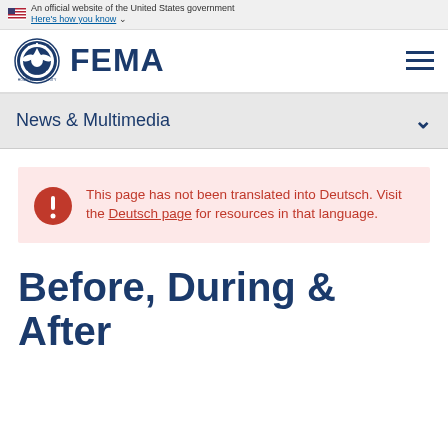An official website of the United States government
Here's how you know
[Figure (logo): FEMA logo with DHS seal and FEMA text]
News & Multimedia
This page has not been translated into Deutsch. Visit the Deutsch page for resources in that language.
Before, During & After